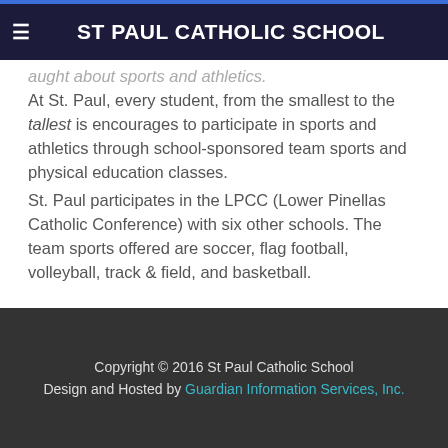ST PAUL CATHOLIC SCHOOL
At St. Paul, every student, from the smallest to the tallest is encourages to participate in sports and athletics through school-sponsored team sports and physical education classes.
St. Paul participates in the LPCC (Lower Pinellas Catholic Conference) with six other schools. The team sports offered are soccer, flag football, volleyball, track & field, and basketball.
Copyright © 2016 St Paul Catholic School
Design and Hosted by Guardian Information Services, Inc.